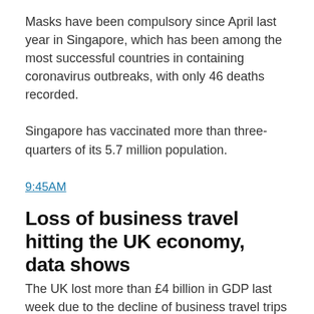Masks have been compulsory since April last year in Singapore, which has been among the most successful countries in containing coronavirus outbreaks, with only 46 deaths recorded.
Singapore has vaccinated more than three-quarters of its 5.7 million population.
9:45AM
Loss of business travel hitting the UK economy, data shows
The UK lost more than £4 billion in GDP last week due to the decline of business travel trips following Covid-19, according to the Business Travel Association.
Data from Travelogix shows that in the second week of